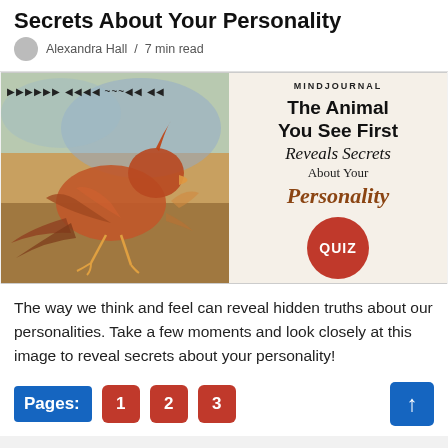Secrets About Your Personality
Alexandra Hall  /  7 min read
[Figure (illustration): Composite image: left side shows an artistic painting of a bird (cardinal/crab hybrid in earth tones), right side shows a Mind Journal quiz card reading 'The Animal You See First Reveals Secrets About Your Personality QUIZ']
The way we think and feel can reveal hidden truths about our personalities. Take a few moments and look closely at this image to reveal secrets about your personality!
Pages: 1  2  3